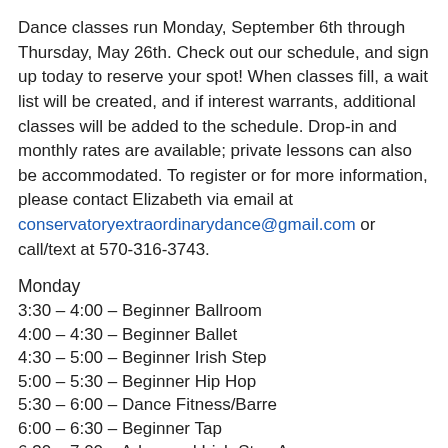Dance classes run Monday, September 6th through Thursday, May 26th. Check out our schedule, and sign up today to reserve your spot! When classes fill, a wait list will be created, and if interest warrants, additional classes will be added to the schedule. Drop-in and monthly rates are available; private lessons can also be accommodated. To register or for more information, please contact Elizabeth via email at conservatoryextraordinarydance@gmail.com or call/text at 570-316-3743.
Monday
3:30 – 4:00 – Beginner Ballroom
4:00 – 4:30 – Beginner Ballet
4:30 – 5:00 – Beginner Irish Step
5:00 – 5:30 – Beginner Hip Hop
5:30 – 6:00 – Dance Fitness/Barre
6:00 – 6:30 – Beginner Tap
6:30 – 7:00 – Advanced Irish Step A